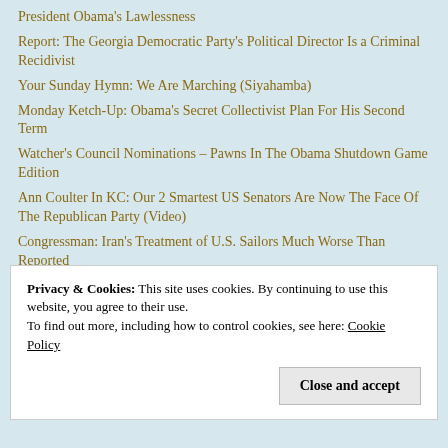President Obama's Lawlessness
Report: The Georgia Democratic Party's Political Director Is a Criminal Recidivist
Your Sunday Hymn: We Are Marching (Siyahamba)
Monday Ketch-Up: Obama's Secret Collectivist Plan For His Second Term
Watcher's Council Nominations – Pawns In The Obama Shutdown Game Edition
Ann Coulter In KC: Our 2 Smartest US Senators Are Now The Face Of The Republican Party (Video)
Congressman: Iran's Treatment of U.S. Sailors Much Worse Than Reported
Yes, There Was A Kapiolani Maternity And Gynecological Hospital In 1961
Memorial Day 2013…
Privacy & Cookies: This site uses cookies. By continuing to use this website, you agree to their use.
To find out more, including how to control cookies, see here: Cookie Policy
Close and accept